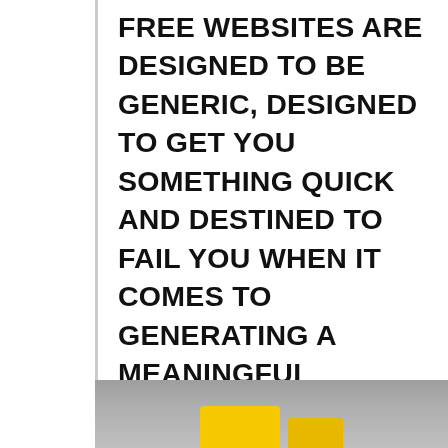FREE WEBSITES ARE DESIGNED TO BE GENERIC, DESIGNED TO GET YOU SOMETHING QUICK AND DESTINED TO FAIL YOU WHEN IT COMES TO GENERATING A MEANINGFUL TRAFFIC STRATEGY THAT BENEFITS YOU FINANCIALLY IN THE LONG TERM.
[Figure (photo): Partial view of a photo showing a grey textured surface with a yellow object (possibly a sign or tag) visible at the bottom edge of the strip.]